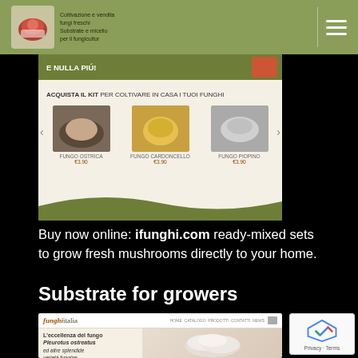[Figure (screenshot): Header navigation bar with logo for 'ifunghi' brand on olive/green background with hamburger menu icon]
[Figure (screenshot): Screenshot of ifunghi.com website showing mushroom growing kits for sale with product images and prices]
Buy now online: ifunghi.com ready-mixed sets to grow fresh mushrooms directly to your home.
Substrate for growers
[Figure (screenshot): Screenshot of funghitalia.com website showing Pleurotus ostreatus mushrooms with Italian text]